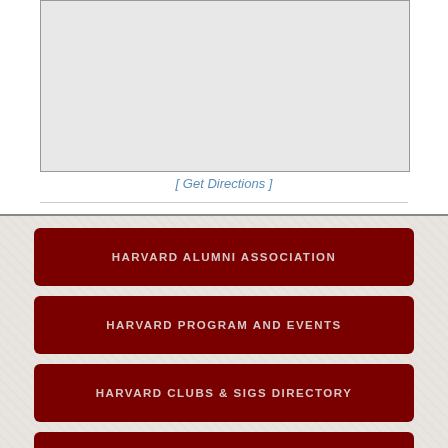[Figure (map): Gray map area showing a location map]
[ Get Directions ]
HARVARD ALUMNI ASSOCIATION
HARVARD PROGRAM AND EVENTS
HARVARD CLUBS & SIGS DIRECTORY
HARVARD ONLINE LEARNING